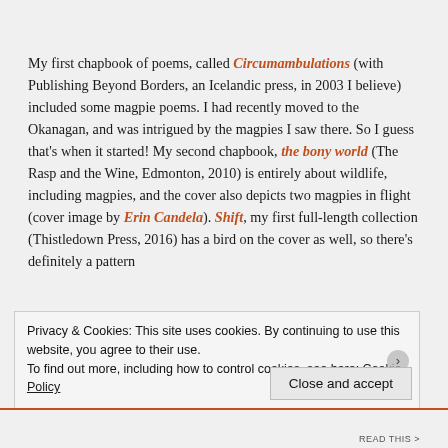My first chapbook of poems, called Circumambulations (with Publishing Beyond Borders, an Icelandic press, in 2003 I believe) included some magpie poems. I had recently moved to the Okanagan, and was intrigued by the magpies I saw there. So I guess that's when it started! My second chapbook, the bony world (The Rasp and the Wine, Edmonton, 2010) is entirely about wildlife, including magpies, and the cover also depicts two magpies in flight (cover image by Erin Candela). Shift, my first full-length collection (Thistledown Press, 2016) has a bird on the cover as well, so there's definitely a pattern
Privacy & Cookies: This site uses cookies. By continuing to use this website, you agree to their use. To find out more, including how to control cookies, see here: Cookie Policy
Close and accept